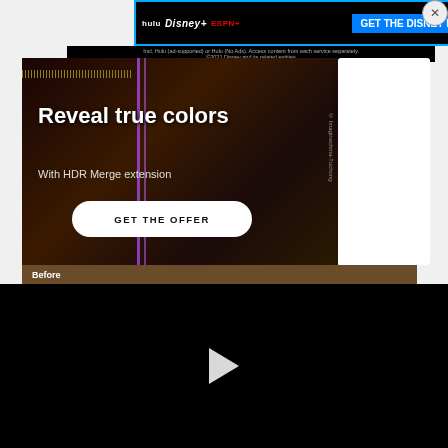[Figure (screenshot): Disney Bundle advertisement banner at top with Hulu, Disney+, ESPN+ logos and blue 'GET THE DISNEY BUNDLE' CTA]
Incl. Hulu (ad-supported) or Hulu (No Ads). Access content from each service separately. ©2021 Disney and its related entities
[Figure (screenshot): HDR Merge extension advertisement: 'Reveal true colors / With HDR Merge extension / GET THE OFFER' button with dark photography background and 'Before' panel strip]
[Figure (screenshot): Black video player area with white play button triangle]